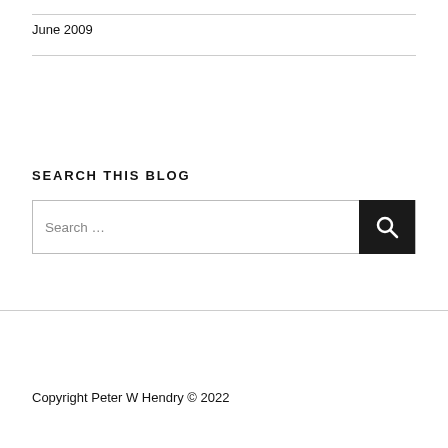June 2009
SEARCH THIS BLOG
Search …
Copyright Peter W Hendry © 2022